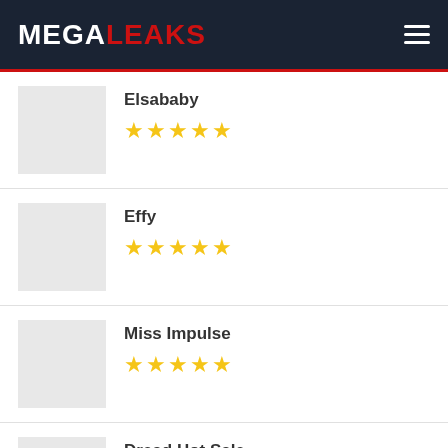MEGALEAKS
Elsababy ★★★★★
Effy ★★★★★
Miss Impulse ★★★★★
Dread Hot Sale ★★★★★